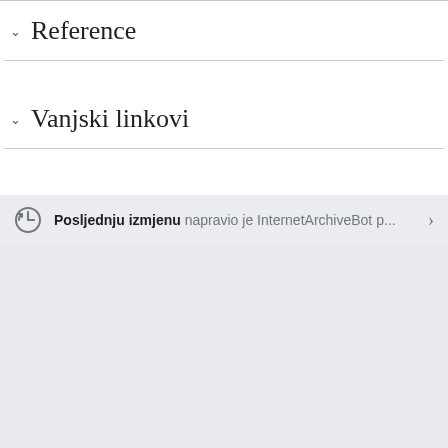Reference
Vanjski linkovi
Posljednju izmjenu napravio je InternetArchiveBot p...